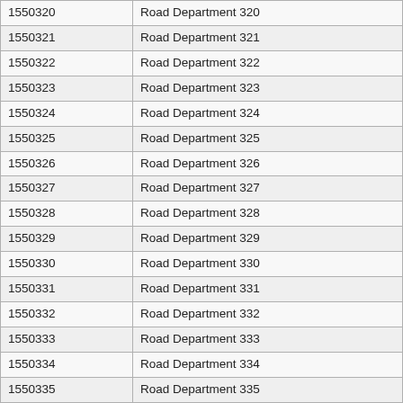| 1550320 | Road Department 320 |
| 1550321 | Road Department 321 |
| 1550322 | Road Department 322 |
| 1550323 | Road Department 323 |
| 1550324 | Road Department 324 |
| 1550325 | Road Department 325 |
| 1550326 | Road Department 326 |
| 1550327 | Road Department 327 |
| 1550328 | Road Department 328 |
| 1550329 | Road Department 329 |
| 1550330 | Road Department 330 |
| 1550331 | Road Department 331 |
| 1550332 | Road Department 332 |
| 1550333 | Road Department 333 |
| 1550334 | Road Department 334 |
| 1550335 | Road Department 335 |
| 1550336 | Road Department 336 |
| 1550337 | Road Department 337 |
| 1550338 | Road Department 338 |
| 1550339 | Road Department 339 |
| 1550340 | Road Department Vehicle 177 |
| 1550341 | Road Department Supervisor (Vehicle #???) |
| 1550342 | Road Department Supervisor (Vehicle #???) |
| 1550343 | Road Department Supervisor (Vehicle #???) |
| 1550344 | Road Department Supervisor ??? |